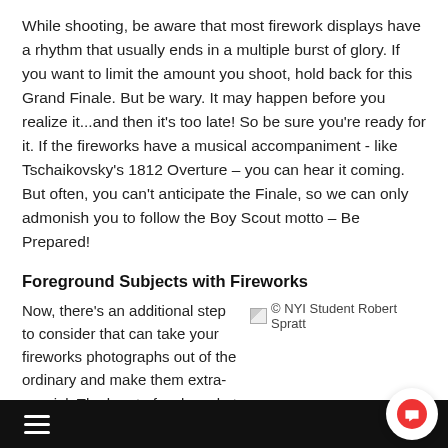While shooting, be aware that most firework displays have a rhythm that usually ends in a multiple burst of glory. If you want to limit the amount you shoot, hold back for this Grand Finale. But be wary. It may happen before you realize it...and then it's too late! So be sure you're ready for it. If the fireworks have a musical accompaniment - like Tschaikovsky's 1812 Overture – you can hear it coming. But often, you can't anticipate the Finale, so we can only admonish you to follow the Boy Scout motto – Be Prepared!
Foreground Subjects with Fireworks
© NYI Student Robert Spratt
Now, there's an additional step to consider that can take your fireworks photographs out of the ordinary and make them extra-special. The burst of a skyrocket, by itself, is pretty. But it's not
≡  🛒 0